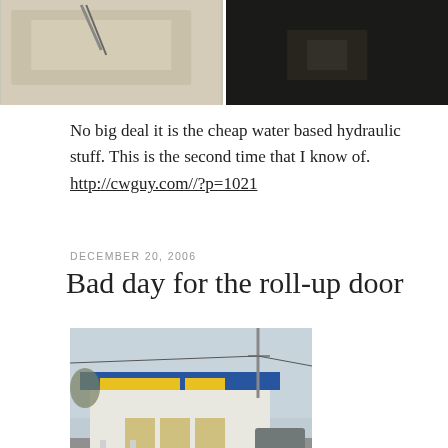[Figure (photo): Two side-by-side photos: left photo shows light-colored surface with tools/objects, right photo shows dark interior scene]
No big deal it is the cheap water based hydraulic stuff. This is the second time that I know of. http://cwguy.com//?p=1021
DECEMBER 20, 2006
Bad day for the roll-up door
[Figure (photo): Exterior photo of a car wash building with blue roof and signage, parking lot visible]
[Figure (photo): Partial photo at bottom of page, appears to show detail of building or door]